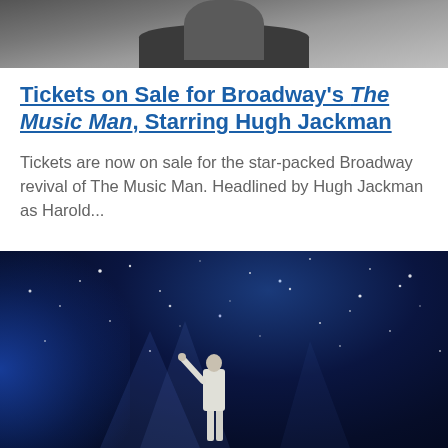[Figure (photo): Cropped photo of a person in a grey/dark jacket, visible from shoulders up, bottom portion of face/neck area]
Tickets on Sale for Broadway's The Music Man, Starring Hugh Jackman
Tickets are now on sale for the star-packed Broadway revival of The Music Man. Headlined by Hugh Jackman as Harold...
[Figure (photo): Performer in white suit on stage with arm raised, surrounded by sparkly particles/confetti and dramatic blue stage lighting]